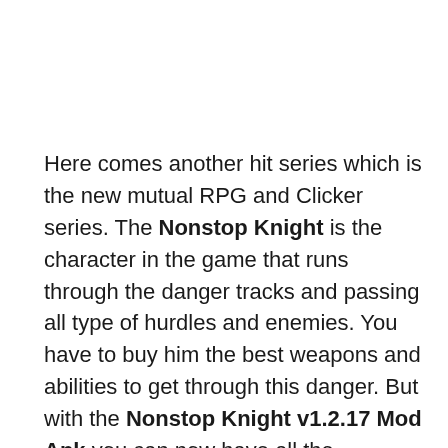Here comes another hit series which is the new mutual RPG and Clicker series. The Nonstop Knight is the character in the game that runs through the danger tracks and passing all type of hurdles and enemies. You have to buy him the best weapons and abilities to get through this danger. But with the Nonstop Knight v1.2.17 Mod Apk you can now have all the unlimited features loaded in the game already. With Unlimited Resources and Money this Nonstop Knight modded apk hack